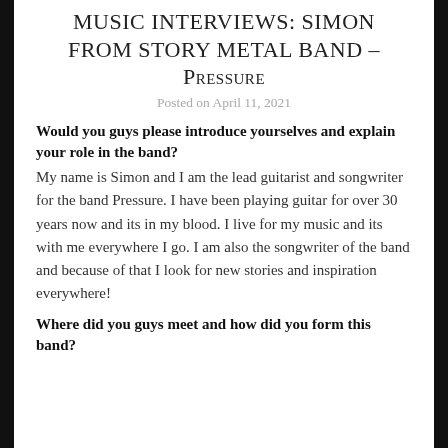MUSIC INTERVIEWS: SIMON FROM STORY METAL BAND – Pressure
Posted on April 11, 2021
Would you guys please introduce yourselves and explain your role in the band?
My name is Simon and I am the lead guitarist and songwriter for the band Pressure. I have been playing guitar for over 30 years now and its in my blood. I live for my music and its with me everywhere I go. I am also the songwriter of the band and because of that I look for new stories and inspiration everywhere!
Where did you guys meet and how did you form this band?